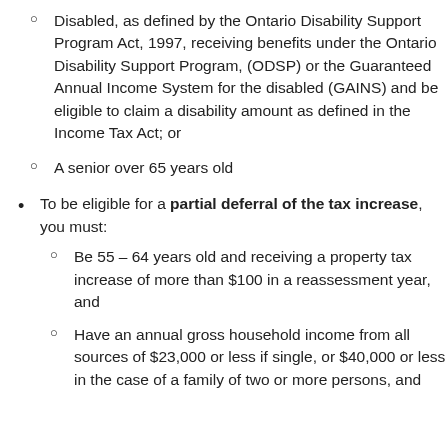Disabled, as defined by the Ontario Disability Support Program Act, 1997, receiving benefits under the Ontario Disability Support Program, (ODSP) or the Guaranteed Annual Income System for the disabled (GAINS) and be eligible to claim a disability amount as defined in the Income Tax Act; or
A senior over 65 years old
To be eligible for a partial deferral of the tax increase, you must:
Be 55 – 64 years old and receiving a property tax increase of more than $100 in a reassessment year, and
Have an annual gross household income from all sources of $23,000 or less if single, or $40,000 or less in the case of a family of two or more persons, and